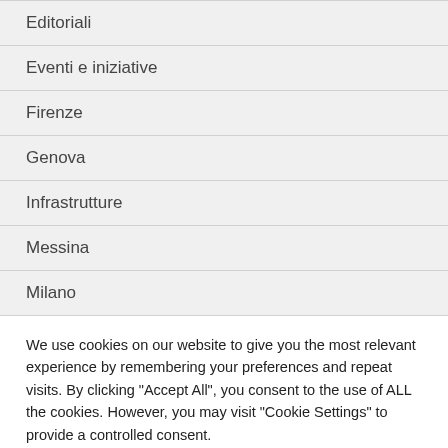Editoriali
Eventi e iniziative
Firenze
Genova
Infrastrutture
Messina
Milano
We use cookies on our website to give you the most relevant experience by remembering your preferences and repeat visits. By clicking "Accept All", you consent to the use of ALL the cookies. However, you may visit "Cookie Settings" to provide a controlled consent.
Cookie Settings | Accept All